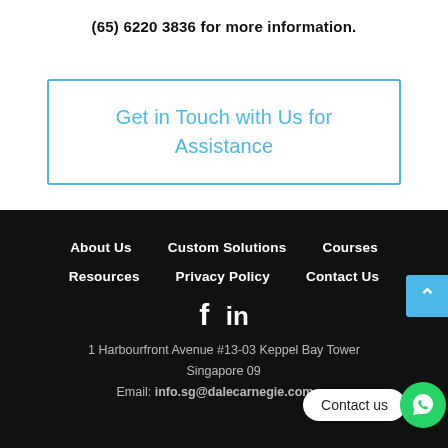(65) 6220 3836 for more information.
Get in Touch with Us for Assistance
About Us   Custom Solutions   Courses   Resources   Privacy Policy   Contact Us
[Figure (illustration): Facebook and LinkedIn social media icons in white on black background]
1 Harbourfront Avenue #13-03 Keppel Bay Tower
Singapore 09...
Email: info.sg@dalecarnegie.com.sg